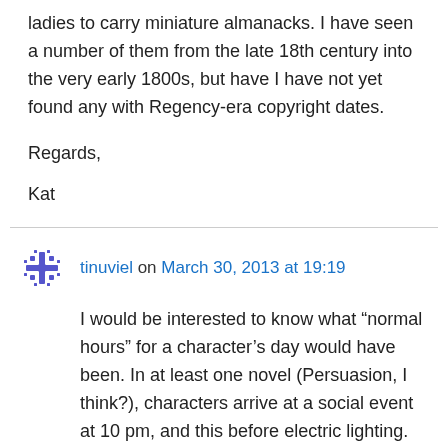ladies to carry miniature almanacks. I have seen a number of them from the late 18th century into the very early 1800s, but have I have not yet found any with Regency-era copyright dates.
Regards,
Kat
tinuviel on March 30, 2013 at 19:19
I would be interested to know what “normal hours” for a character’s day would have been. In at least one novel (Persuasion, I think?), characters arrive at a social event at 10 pm, and this before electric lighting. There must be something discriminating about the time of